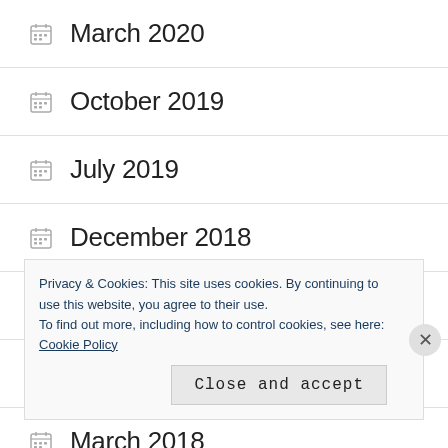March 2020
October 2019
July 2019
December 2018
August 2018
April 2018
March 2018
Privacy & Cookies: This site uses cookies. By continuing to use this website, you agree to their use.
To find out more, including how to control cookies, see here: Cookie Policy
Close and accept